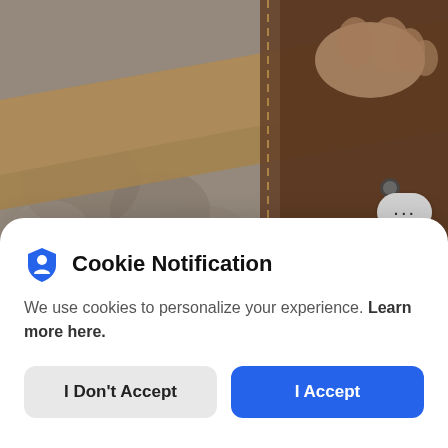[Figure (photo): Close-up photo of a hand stitching or holding a brown leather iPhone case, with fabric/textile background visible.]
$148  EDC  Leather
hardgraft Bear Hug Classic & Vegan Leather iPhone Case
3 weeks ago by Genevieve
Cookie Notification
We use cookies to personalize your experience. Learn more here.
I Don't Accept
I Accept